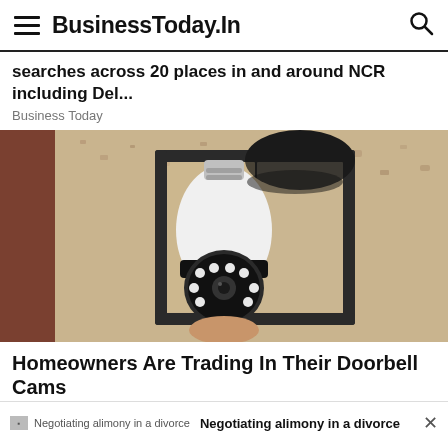BusinessToday.In
searches across 20 places in and around NCR including Del...
Business Today
[Figure (photo): A security camera disguised as a light bulb, installed inside an outdoor wall lantern fixture mounted on a textured stone or stucco wall.]
Homeowners Are Trading In Their Doorbell Cams
Negotiating alimony in a divorce
MOST READ